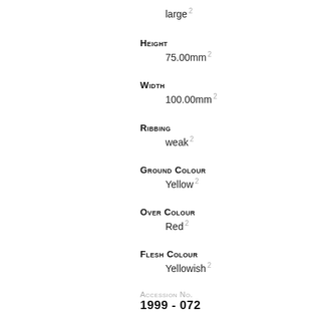large 2
Height
75.00mm 2
Width
100.00mm 2
Ribbing
weak 2
Ground Colour
Yellow 2
Over Colour
Red 2
Flesh Colour
Yellowish 2
Accession No.
1999 - 072